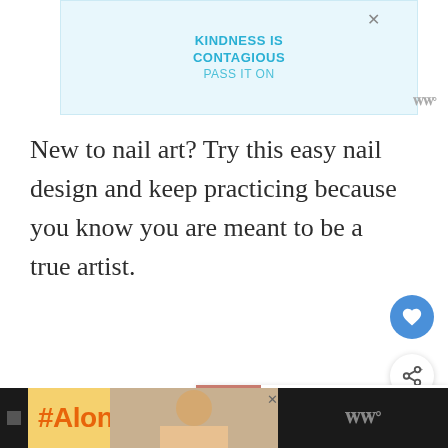[Figure (screenshot): Advertisement banner with light blue background reading KINDNESS IS CONTAGIOUS PASS IT ON with an X close button]
New to nail art? Try this easy nail design and keep practicing because you know you are meant to be a true artist.
[Figure (screenshot): What's Next panel showing thumbnail image of skin and text: Skin Peeling on Fingers...]
#32. Eastern Love
[Figure (screenshot): Bottom advertisement bar with yellow background showing #AloneTogether text and a photo of a woman cooking, with dark Wattpad logo on the right]